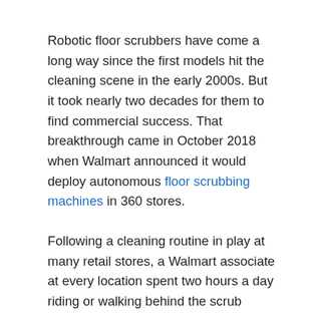Robotic floor scrubbers have come a long way since the first models hit the cleaning scene in the early 2000s. But it took nearly two decades for them to find commercial success. That breakthrough came in October 2018 when Walmart announced it would deploy autonomous floor scrubbing machines in 360 stores.
Following a cleaning routine in play at many retail stores, a Walmart associate at every location spent two hours a day riding or walking behind the scrub machine to keep floors sparkling clean. The introduction of self-driving scrubbers, powered by Brain Corp.'s assisted autonomous technology, freed these associates to take care of other tasks like tidying restrooms, dust-mopping the checkout aisles, or engaging with customers. The workers simply prepped the floor area and mapped the machine's route, then pressed a button to start the floor